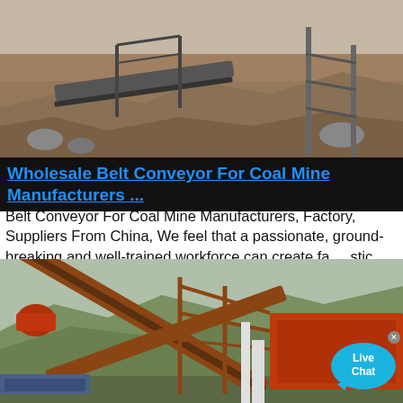[Figure (photo): Industrial mining belt conveyor system at a quarry or coal mine site, showing rocky terrain, conveyor belts and infrastructure]
Wholesale Belt Conveyor For Coal Mine Manufacturers ...
Belt Conveyor For Coal Mine Manufacturers, Factory, Suppliers From China, We feel that a passionate, ground-breaking and well-trained workforce can create fantastic and mutually useful business associations with you quickly. Be sure to really feel totally free to ...
[Figure (photo): Industrial conveyor belt equipment at a mining or quarrying site with red machinery, steel frames, and forested mountain backdrop]